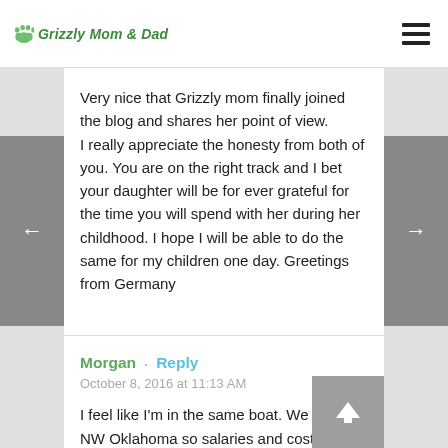Grizzly Mom & Dad
Very nice that Grizzly mom finally joined the blog and shares her point of view.
I really appreciate the honesty from both of you. You are on the right track and I bet your daughter will be for ever grateful for the time you will spend with her during her childhood. I hope I will be able to do the same for my children one day. Greetings from Germany
Morgan · Reply
October 8, 2016 at 11:13 AM
I feel like I'm in the same boat. We are in NW Oklahoma so salaries and cost of living are far different. I work for a fire department, and the security is the hard part for me; low cost insurance with great coverage, $50,000/yr job, pension. I only work ten 24 hr shifts per month, but I'm